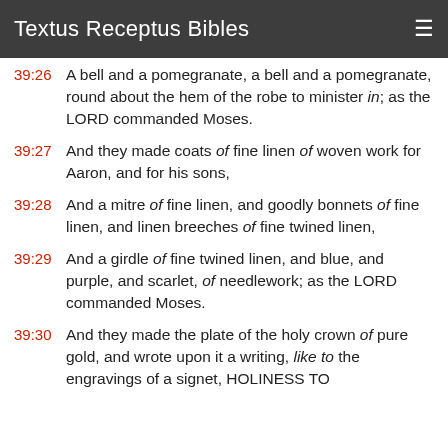Textus Receptus Bibles
39:26 A bell and a pomegranate, a bell and a pomegranate, round about the hem of the robe to minister in; as the LORD commanded Moses.
39:27 And they made coats of fine linen of woven work for Aaron, and for his sons,
39:28 And a mitre of fine linen, and goodly bonnets of fine linen, and linen breeches of fine twined linen,
39:29 And a girdle of fine twined linen, and blue, and purple, and scarlet, of needlework; as the LORD commanded Moses.
39:30 And they made the plate of the holy crown of pure gold, and wrote upon it a writing, like to the engravings of a signet, HOLINESS TO